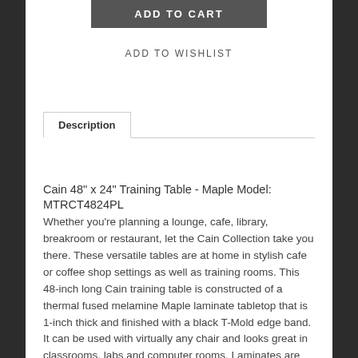ADD TO CART
ADD TO WISHLIST
Description
Cain 48" x 24" Training Table - Maple Model: MTRCT4824PL
Whether you’re planning a lounge, cafe, library, breakroom or restaurant, let the Cain Collection take you there. These versatile tables are at home in stylish cafe or coffee shop settings as well as training rooms. This 48-inch long Cain training table is constructed of a thermal fused melamine Maple laminate tabletop that is 1-inch thick and finished with a black T-Mold edge band. It can be used with virtually any chair and looks great in classrooms, labs and computer rooms. Laminates are scratch, stain and scald resistant and wipe clean easily. Rounded corners make the table safer for